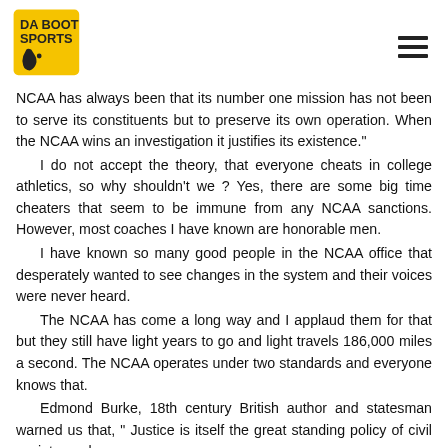Da Boot Sports logo and hamburger menu
NCAA has always been that its number one mission has not been to serve its constituents but to preserve its own operation. When the NCAA wins an investigation it justifies its existence."
   I do not accept the theory, that everyone cheats in college athletics, so why shouldn't we ? Yes, there are some big time cheaters that seem to be immune from any NCAA sanctions. However, most coaches I have known are honorable men.
   I have known so many good people in the NCAA office that desperately wanted to see changes in the system and their voices were never heard.
   The NCAA has come a long way and I applaud them for that but they still have light years to go and light travels 186,000 miles a second. The NCAA operates under two standards and everyone knows that.
   Edmond Burke, 18th century British author and statesman warned us that, " Justice is itself the great standing policy of civil society; and